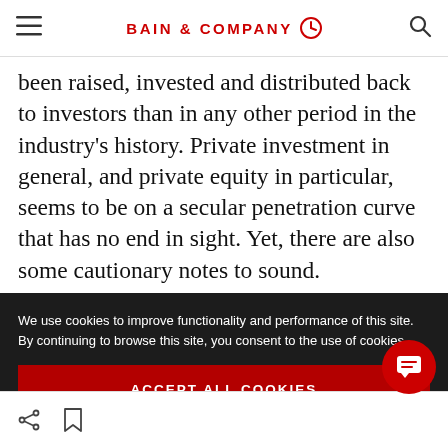BAIN & COMPANY
been raised, invested and distributed back to investors than in any other period in the industry's history. Private investment in general, and private equity in particular, seems to be on a secular penetration curve that has no end in sight. Yet, there are also some cautionary notes to sound.
We use cookies to improve functionality and performance of this site. By continuing to browse this site, you consent to the use of cookies.
ACCEPT ALL COOKIES